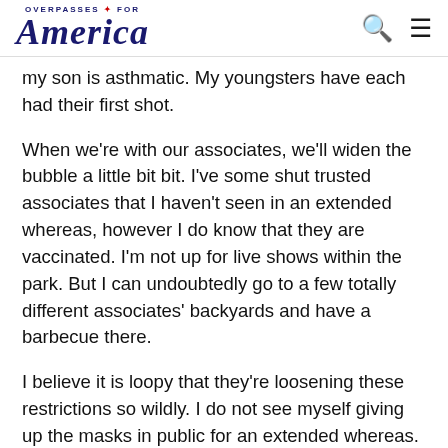OVERPASSES FOR America
my son is asthmatic. My youngsters have each had their first shot.
When we're with our associates, we'll widen the bubble a little bit bit. I've some shut trusted associates that I haven't seen in an extended whereas, however I do know that they are vaccinated. I'm not up for live shows within the park. But I can undoubtedly go to a few totally different associates' backyards and have a barbecue there.
I believe it is loopy that they're loosening these restrictions so wildly. I do not see myself giving up the masks in public for an extended whereas. I do know most individuals are desirous to shed them, however I benefit from the safety it has given me from others. People are so gross. It amazes me. Recently, I noticed a person take off his masks to